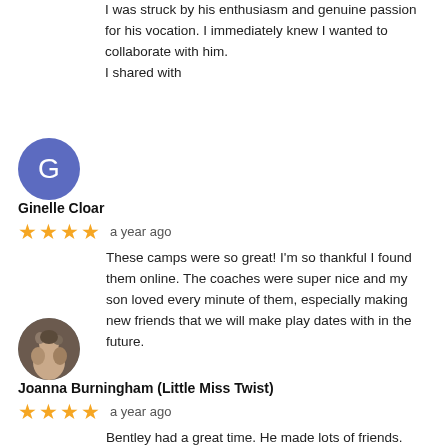I was struck by his enthusiasm and genuine passion for his vocation. I immediately knew I wanted to collaborate with him.
I shared with
[Figure (illustration): Circular avatar with letter G on purple/indigo background representing reviewer Ginelle Cloar]
Ginelle Cloar
★★★★ a year ago
These camps were so great! I'm so thankful I found them online. The coaches were super nice and my son loved every minute of them, especially making new friends that we will make play dates with in the future.
[Figure (photo): Circular profile photo of Joanna Burningham (Little Miss Twist)]
Joanna Burningham (Little Miss Twist)
★★★★ a year ago
Bentley had a great time. He made lots of friends. Bentley was excited to go everyday and told me about how much fun he had ever afternoon at pick up. He had a blast! Thanks for making his time at